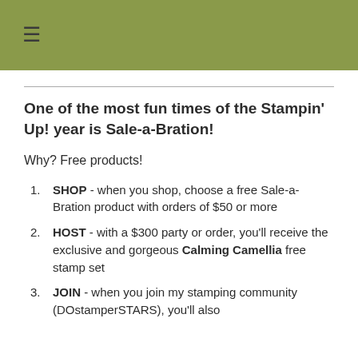☰
One of the most fun times of the Stampin' Up! year is Sale-a-Bration!
Why? Free products!
SHOP - when you shop, choose a free Sale-a-Bration product with orders of $50 or more
HOST - with a $300 party or order, you'll receive the exclusive and gorgeous Calming Camellia free stamp set
JOIN - when you join my stamping community (DOstamperSTARS), you'll also